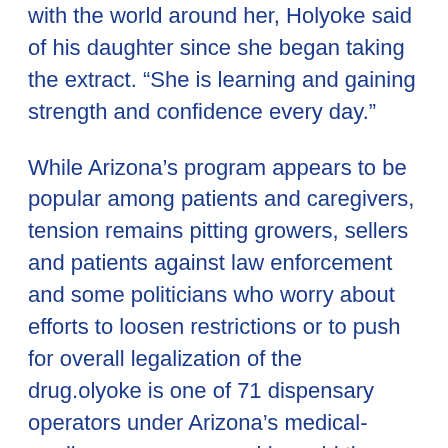with the world around her, Holyoke said of his daughter since she began taking the extract. “She is learning and gaining strength and confidence every day.”
While Arizona’s program appears to be popular among patients and caregivers, tension remains pitting growers, sellers and patients against law enforcement and some politicians who worry about efforts to loosen restrictions or to push for overall legalization of the drug.olyoke is one of 71 dispensary operators under Arizona’s medical-marijuana program, and he said the only reason he became one is because of his daughter’s illness.
Although 20 states and the District of Columbia have